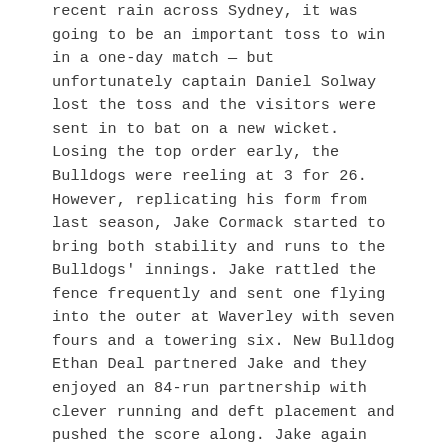recent rain across Sydney, it was going to be an important toss to win in a one-day match — but unfortunately captain Daniel Solway lost the toss and the visitors were sent in to bat on a new wicket. Losing the top order early, the Bulldogs were reeling at 3 for 26. However, replicating his form from last season, Jake Cormack started to bring both stability and runs to the Bulldogs' innings. Jake rattled the fence frequently and sent one flying into the outer at Waverley with seven fours and a towering six. New Bulldog Ethan Deal partnered Jake and they enjoyed an 84-run partnership with clever running and deft placement and pushed the score along. Jake again showed his class today but stood alone. Indeed, once Ethan (27)